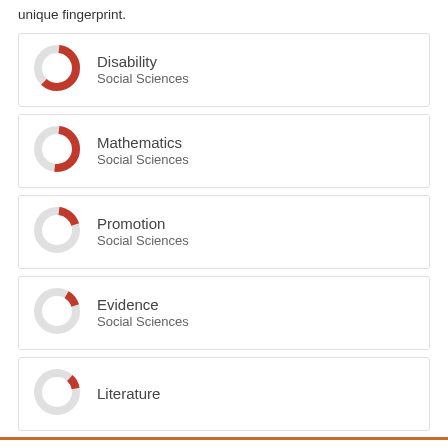unique fingerprint.
[Figure (donut-chart): Donut chart showing partial fill for Disability, Social Sciences]
[Figure (donut-chart): Donut chart showing partial fill for Mathematics, Social Sciences]
[Figure (donut-chart): Donut chart showing partial fill for Promotion, Social Sciences]
[Figure (donut-chart): Donut chart showing partial fill for Evidence, Social Sciences]
[Figure (donut-chart): Donut chart showing partial fill for Literature]
We use cookies to analyse and improve our service. Cookie Policy